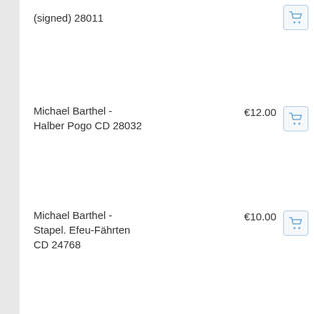(signed) 28011
Michael Barthel - Halber Pogo CD 28032
€12.00
Michael Barthel - Stapel. Efeu-Fährten CD 24768
€10.00
Philip Best - Shasta V Poster 22786
€15.00
Rolf Julius - Lullaby for the Fishes LP 26680
€16.00